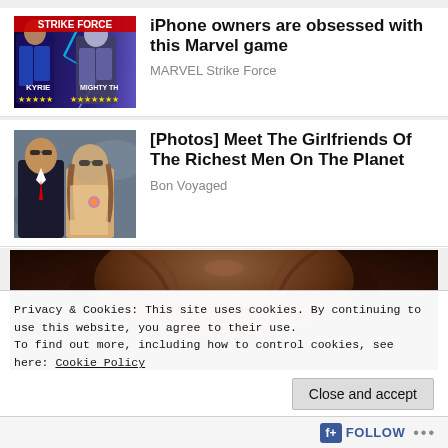[Figure (photo): MARVEL Strike Force game promotional image with characters KYRIE and MIGHTY TH, star ratings shown]
iPhone owners are obsessed with this Marvel game
MARVEL Strike Force
[Figure (photo): Photo of a man in suit and woman with sunglasses sitting together]
[Photos] Meet The Girlfriends Of The Richest Men On The Planet
Bon Voyaged
[Figure (photo): Close-up photo of a person with dark hair, blurred background]
Privacy & Cookies: This site uses cookies. By continuing to use this website, you agree to their use.
To find out more, including how to control cookies, see here: Cookie Policy
Close and accept
Follow ...